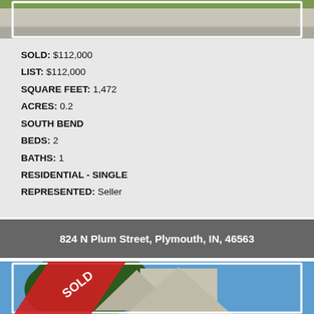[Figure (photo): Top portion of a property photo showing driveway and grass, partially cut off at top of page]
SOLD: $112,000
LIST: $112,000
SQUARE FEET: 1,472
ACRES: 0.2
SOUTH BEND
BEDS: 2
BATHS: 1
RESIDENTIAL - SINGLE
REPRESENTED: Seller
824 N Plum Street, Plymouth, IN, 46563
[Figure (photo): House exterior photo with a red SOLD banner/ribbon overlay in the upper left corner, showing roof peak against blue sky with trees in background]